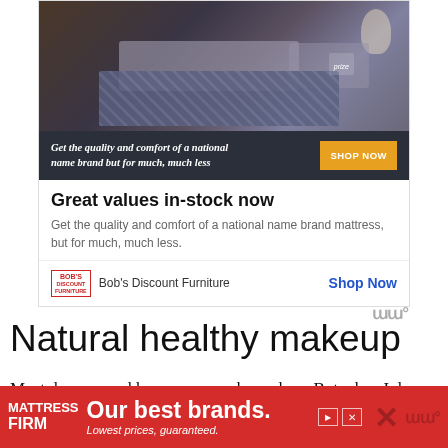[Figure (photo): Advertisement for Bob's Discount Furniture showing a bedroom with a bed and plaid bedding. Text banner reads 'Get the quality and comfort of a national name brand but for much, much less' with a 'SHOP NOW' button.]
Great values in-stock now
Get the quality and comfort of a national name brand mattress, but for much, much less.
Bob's Discount Furniture   Shop Now
Natural healthy makeup
Most days around here are no makeup days. But when I do wear makeup, I either wear only mascara and lip balm, or if I feel like
[Figure (infographic): Bottom banner ad for Mattress Firm reading 'Our best brands. Lowest prices, guaranteed.' with a red background and white text.]